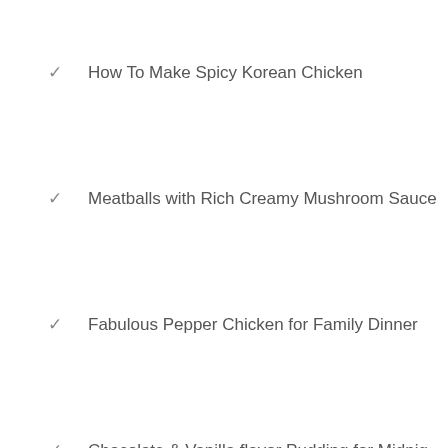How To Make Spicy Korean Chicken
Meatballs with Rich Creamy Mushroom Sauce
Fabulous Pepper Chicken for Family Dinner
Chocolate & Vanilla flavor Pudding for Midnig…
Banana Oat Muffins
Crunchy, Cheesy & Healthy Nacho Platter
Soft & Fluffy Microwave Muffin
Rich and Creamy Butter Chicken